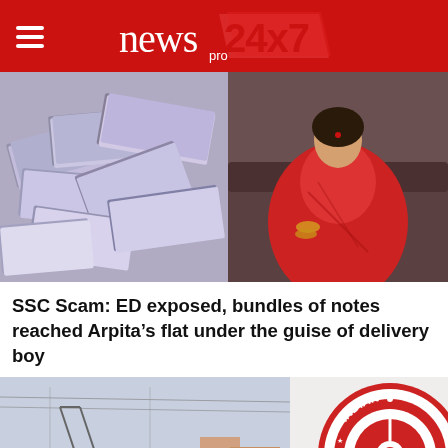newspro24x7
[Figure (photo): Left half: pile of Indian rupee note bundles stacked on each other, grey/purple tones. Right half: woman in red saree sitting on leather sofa with gold bangles.]
SSC Scam: ED exposed, bundles of notes reached Arpita’s flat under the guise of delivery boy
[Figure (photo): Left side: red Indian Railways WAP4 locomotive number 22820 on tracks. Right side: Indian Railways circular logo in red and white.]